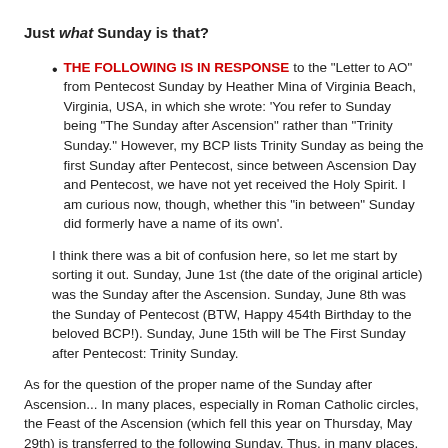Just what Sunday is that?
THE FOLLOWING IS IN RESPONSE to the "Letter to AO" from Pentecost Sunday by Heather Mina of Virginia Beach, Virginia, USA, in which she wrote: 'You refer to Sunday being "The Sunday after Ascension" rather than "Trinity Sunday." However, my BCP lists Trinity Sunday as being the first Sunday after Pentecost, since between Ascension Day and Pentecost, we have not yet received the Holy Spirit. I am curious now, though, whether this "in between" Sunday did formerly have a name of its own'.
I think there was a bit of confusion here, so let me start by sorting it out. Sunday, June 1st (the date of the original article) was the Sunday after the Ascension. Sunday, June 8th was the Sunday of Pentecost (BTW, Happy 454th Birthday to the beloved BCP!). Sunday, June 15th will be The First Sunday after Pentecost: Trinity Sunday.
As for the question of the proper name of the Sunday after Ascension... In many places, especially in Roman Catholic circles, the Feast of the Ascension (which fell this year on Thursday, May 29th) is transferred to the following Sunday. Thus, in many places, the Sunday after the Ascension is actually the Feast of the Ascension.
In many places, the Sunday after the Ascension also bears the name of the Seventh Sunday of Easter. The Feast of the Ascension, like other major Feasts, has historically been